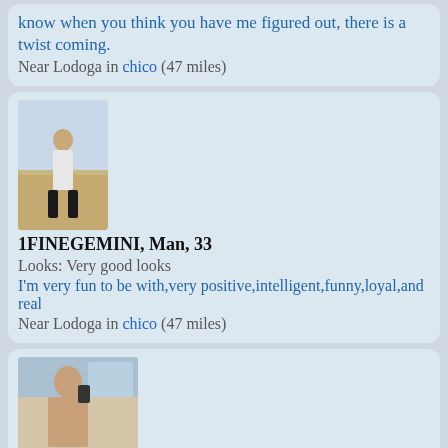know when you think you have me figured out, there is a twist coming.
Near Lodoga in chico (47 miles)
[Figure (photo): Profile photo of user 1FINEGEMINI, man standing outdoors]
1FINEGEMINI, Man, 33
Looks: Very good looks
I'm very fun to be with,very positive,intelligent,funny,loyal,and real
Near Lodoga in chico (47 miles)
[Figure (photo): Profile photo of user 2ND2NO1, bathroom mirror selfie]
2ND2NO1, Man, 37